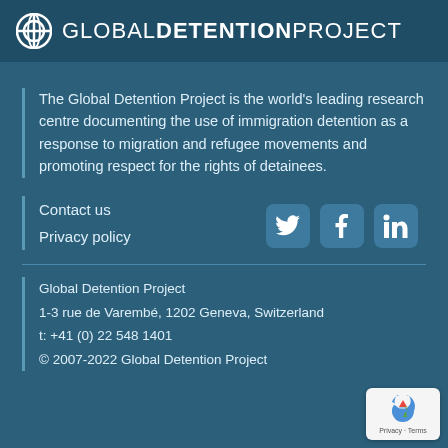GLOBAL DETENTION PROJECT
The Global Detention Project is the world's leading research centre documenting the use of immigration detention as a response to migration and refugee movements and promoting respect for the rights of detainees.
Contact us
Privacy policy
[Figure (logo): Twitter, Facebook, LinkedIn social media icons]
Global Detention Project
1-3 rue de Varembé, 1202 Geneva, Switzerland
t: +41 (0) 22 548 1401
© 2007-2022 Global Detention Project
[Figure (other): reCAPTCHA badge with Privacy and Terms links]